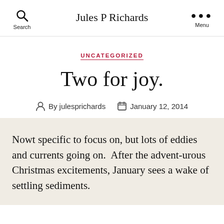Jules P Richards
UNCATEGORIZED
Two for joy.
By julesprichards   January 12, 2014
Nowt specific to focus on, but lots of eddies and currents going on.  After the advent-urous Christmas excitements, January sees a wake of settling sediments.